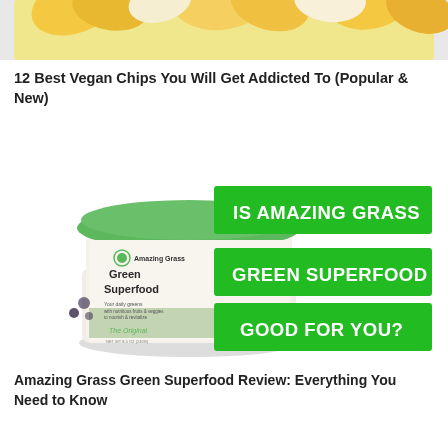[Figure (photo): Top portion of a photo showing vegan chips on a yellow background, partially cropped]
12 Best Vegan Chips You Will Get Addicted To (Popular & New)
[Figure (photo): Amazing Grass Green Superfood product tub with green promotional banner overlays reading 'IS AMAZING GRASS', 'GREEN SUPERFOOD', 'GOOD FOR YOU?']
Amazing Grass Green Superfood Review: Everything You Need to Know